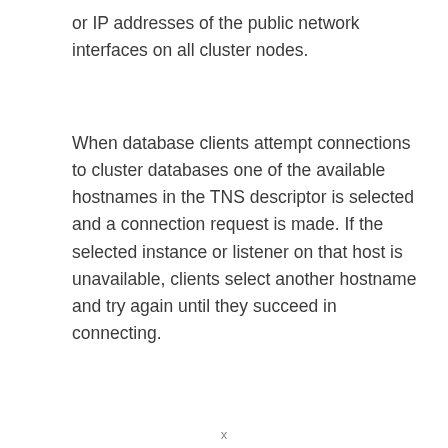or IP addresses of the public network interfaces on all cluster nodes.
When database clients attempt connections to cluster databases one of the available hostnames in the TNS descriptor is selected and a connection request is made. If the selected instance or listener on that host is unavailable, clients select another hostname and try again until they succeed in connecting.
x